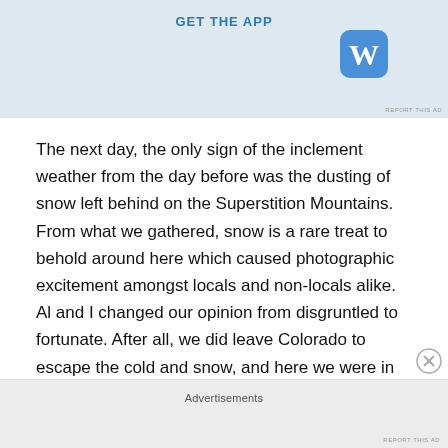[Figure (screenshot): App advertisement banner with 'GET THE APP' text in blue and WordPress-style W logo on blue rounded square icon, on a light blue background]
The next day, the only sign of the inclement weather from the day before was the dusting of snow left behind on the Superstition Mountains. From what we gathered, snow is a rare treat to behold around here which caused photographic excitement amongst locals and non-locals alike. Al and I changed our opinion from disgruntled to fortunate. After all, we did leave Colorado to escape the cold and snow, and here we were in Arizona experiencing the very weather we were trying to avoid. But back home, that weather is the norm while here it is a rarity, and we
Advertisements